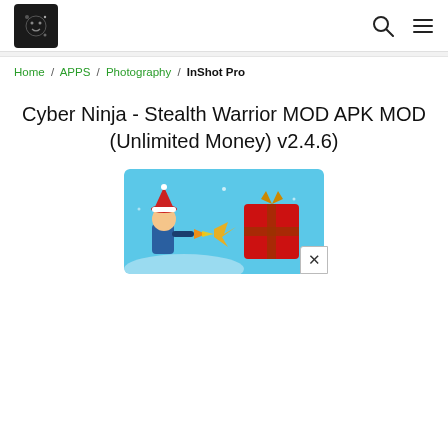InShot Pro [site logo + search + menu icons]
Home / APPS / Photography / InShot Pro
Cyber Ninja - Stealth Warrior MOD APK MOD (Unlimited Money) v2.4.6)
[Figure (screenshot): Game screenshot showing a character with a Santa hat shooting at a red gift box on a light blue background]